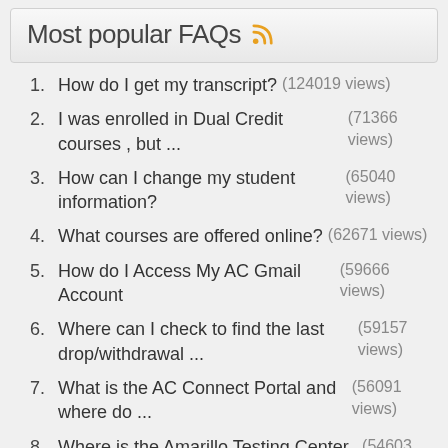Most popular FAQs
How do I get my transcript? (124019 views)
I was enrolled in Dual Credit courses , but ... (71366 views)
How can I change my student information? (65040 views)
What courses are offered online? (62671 views)
How do I Access My AC Gmail Account (59666 views)
Where can I check to find the last drop/withdrawal ... (59157 views)
What is the AC Connect Portal and where do ... (56091 views)
Where is the Amarillo Testing Center located and what ... (54603 views)